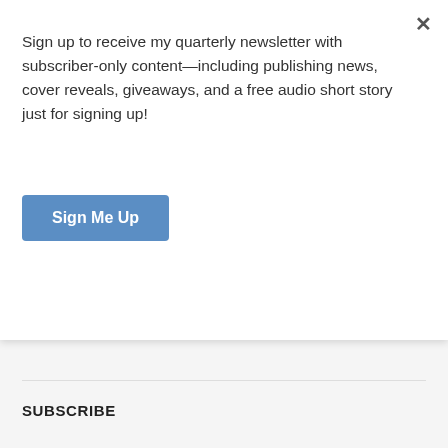Sign up to receive my quarterly newsletter with subscriber-only content—including publishing news, cover reveals, giveaways, and a free audio short story just for signing up!
Sign Me Up
NEXT POST
First Short Story Collection: Cover Art Reveal!
SUBSCRIBE